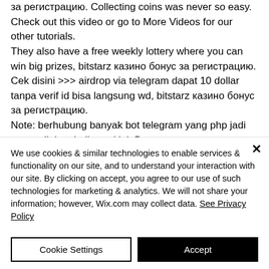за регистрацию. Collecting coins was never so easy. Check out this video or go to More Videos for our other tutorials.
They also have a free weekly lottery where you can win big prizes, bitstarz казино бонус за регистрацию.
Cek disini >>> airdrop via telegram dapat 10 dollar tanpa verif id bisa langsung wd, bitstarz казино бонус за регистрацию.
Note: berhubung banyak bot telegram yang php jadi saya edit kembali tread ini. Dan
We use cookies & similar technologies to enable services & functionality on our site, and to understand your interaction with our site. By clicking on accept, you agree to our use of such technologies for marketing & analytics. We will not share your information; however, Wix.com may collect data. See Privacy Policy